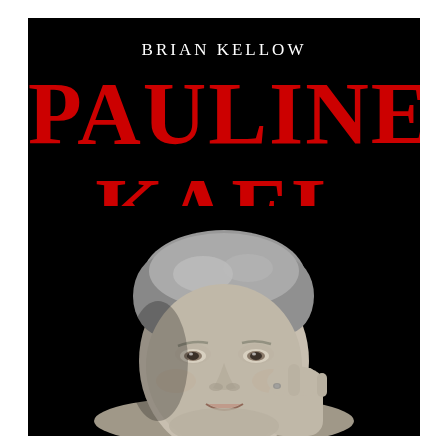BRIAN KELLOW
PAULINE KAEL
A LIFE IN THE DARK
[Figure (photo): Black and white portrait photograph of Pauline Kael, an older woman with short gray hair, resting her cheek on her hand, smiling slightly, on a black background.]